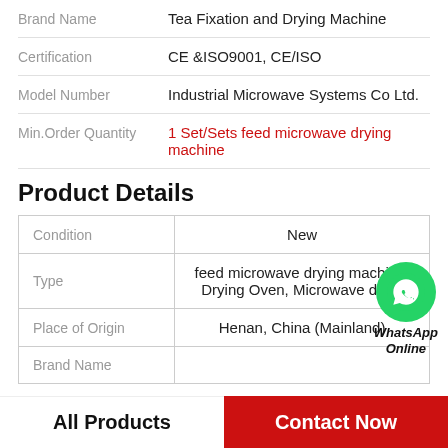| Brand Name | Tea Fixation and Drying Machine |
| --- | --- |
| Certification | CE &ISO9001, CE/ISO |
| Model Number | Industrial Microwave Systems Co Ltd. |
| Min.Order Quantity | 1 Set/Sets feed microwave drying machine |
Product Details
| Condition | New |
| --- | --- |
| Type | feed microwave drying machine, Drying Oven, Microwave dryer |
| Place of Origin | Henan, China (Mainland) |
| Brand Name |  |
WhatsApp Online
All Products | Contact Now